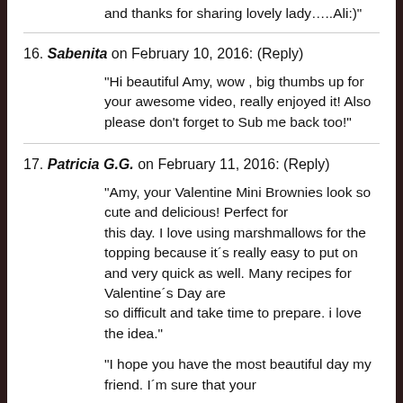and thanks for sharing lovely lady…..Ali:)"
16. Sabenita on February 10, 2016: (Reply)
"Hi beautiful Amy, wow , big thumbs up for your awesome video, really enjoyed it! Also please don't forget to Sub me back too!"
17. Patricia G.G. on February 11, 2016: (Reply)
"Amy, your Valentine Mini Brownies look so cute and delicious! Perfect for
this day. I love using marshmallows for the topping because it´s really easy to put on and very quick as well. Many recipes for Valentine´s Day are
so difficult and take time to prepare. i love the idea."
"I hope you have the most beautiful day my friend. I´m sure that your